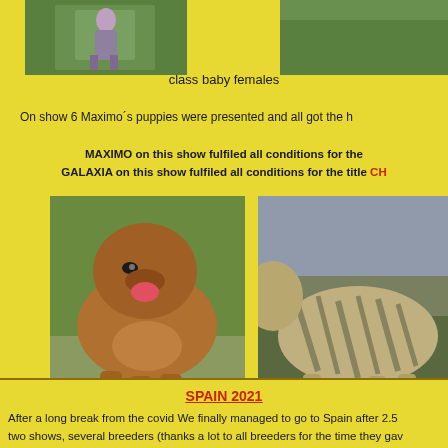[Figure (photo): Two photos at top: left shows a dog being handled on grass, right shows partial view of another dog]
class baby females
On show 6 Maximo´s puppies were presented and all got the h
MAXIMO on this show fulfiled all conditions for the
GALAXIA on this show fulfiled all conditions for the title CH
[Figure (photo): Photo of MAXIMO - a large brown/red mastiff dog standing facing camera with tongue out, on grass background]
[Figure (photo): Partial photo of GALAXIA - a brindle mastiff dog standing sideways at a show]
MAXIMO
GA
SPAIN 2021
After a long break from the covid We finally managed to go to Spain after 2.5
two shows, several breeders (thanks a lot to all breeders for the time they gav